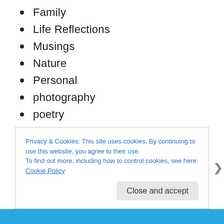Family
Life Reflections
Musings
Nature
Personal
photography
poetry
Religious
Smile
Spiritual
Uncategorized
Privacy & Cookies: This site uses cookies. By continuing to use this website, you agree to their use.
To find out more, including how to control cookies, see here: Cookie Policy